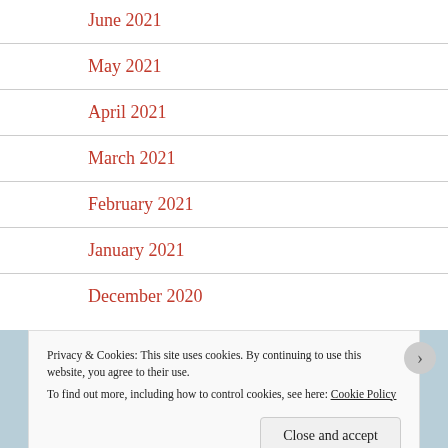June 2021
May 2021
April 2021
March 2021
February 2021
January 2021
December 2020
Privacy & Cookies: This site uses cookies. By continuing to use this website, you agree to their use.
To find out more, including how to control cookies, see here: Cookie Policy
Close and accept